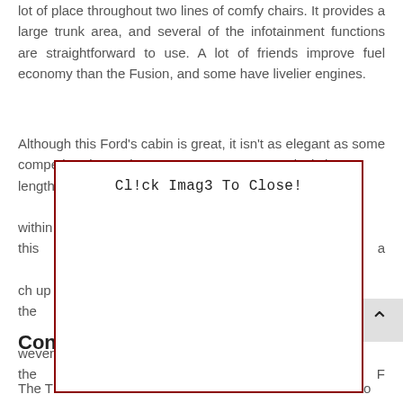lot of place throughout two lines of comfy chairs. It provides a large trunk area, and several of the infotainment functions are straightforward to use. A lot of friends improve fuel economy than the Fusion, and some have livelier engines.
Although this Ford's cabin is great, it isn't as elegant as some competitor decorations. Moreover, numerous rivals have length... and functionality... it challenges... within this a... ch up the al... wever the F... Ford maint... could be on... for a midsi... than most
[Figure (screenshot): A modal popup dialog overlaying the page content with a red border, white background, and the text 'Cl!ck Imag3 To Close!' at the top.]
Con...
The T... ro... vehicle in the midsize car class, which is why it promises a place